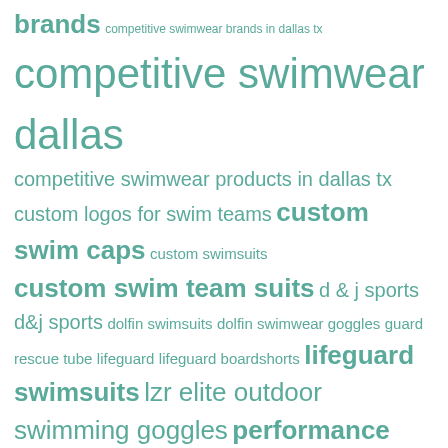[Figure (infographic): Tag cloud of swimming and swimwear related keywords in teal/green color, with font sizes varying based on keyword frequency/importance. Tags include: brands, competitive swimwear brands in dallas tx, competitive swimwear dallas, competitive swimwear products in dallas tx, custom logos for swim teams, custom swim caps, custom swimsuits, custom swim team suits, d & j sports, d&j sports, dolfin swimsuits, dolfin swimwear goggles, guard rescue tube, lifeguard, lifeguard boardshorts, lifeguard swimsuits, lzr elite outdoor swimming goggles, performance swimwear, practice swimsuits, pull buoy, racing swimsuits, silicone swim caps, speedo, Speedo backpack, speedo goggles, speedo lifeguard swimsuits, speedo lzr, speedo lzr elite, speedo lzr racer, speedo lzr racer elite, speedo swimsuits, Speedo swim team suits, speedo swimwear, speedo tech suits, Summer swim team suits, swim backpack, swim caps, swim fins, swim gear, swim goggles, swimming goggles]